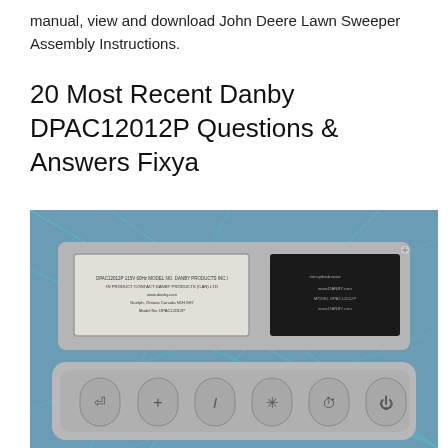manual, view and download John Deere Lawn Sweeper Assembly Instructions.
20 Most Recent Danby DPAC12012P Questions & Answers Fixya
[Figure (photo): Photo of the back panel and control panel of a Danby DPAC12012P portable air conditioner, showing product labels and six control buttons, placed on a teal/blue grid surface.]